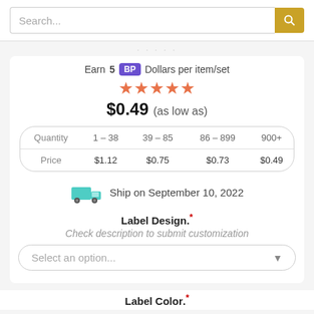Search...
Earn 5 BP Dollars per item/set
[Figure (other): 5-star rating shown in coral/orange color]
$0.49 (as low as)
| Quantity | 1 – 38 | 39 – 85 | 86 – 899 | 900+ |
| --- | --- | --- | --- | --- |
| Price | $1.12 | $0.75 | $0.73 | $0.49 |
Ship on September 10, 2022
Label Design.*
Check description to submit customization
Select an option...
Label Color.*